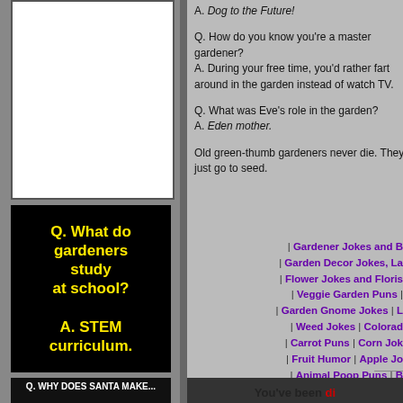[Figure (other): White blank advertisement box on dark grey background]
Q. What do gardeners study at school?

A. STEM curriculum.
[Figure (other): Partially visible bottom black box with text about Santa]
A. Dog to the Future!
Q. How do you know you're a master gardener?
A. During your free time, you'd rather fart around in the garden instead of watch TV.
Q. What was Eve's role in the garden?
A. Eden mother.
Old green-thumb gardeners never die. They just go to seed.
| Gardener Jokes and B... | Garden Decor Jokes, La... | Flower Jokes and Floris... | Veggie Garden Puns | ... | Garden Gnome Jokes | L... | Weed Jokes | Colorad... | Carrot Puns | Corn Jok... | Fruit Humor | Apple Jo... | Animal Poop Puns | B... | Mouse Jokes | Owl Ho...
You've been di...